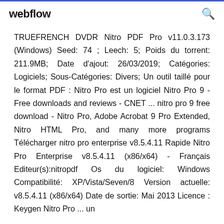webflow
TRUEFRENCH DVDR Nitro PDF Pro v11.0.3.173 (Windows) Seed: 74 ; Leech: 5; Poids du torrent: 211.9MB; Date d'ajout: 26/03/2019; Catégories: Logiciels; Sous-Catégories: Divers; Un outil taillé pour le format PDF : Nitro Pro est un logiciel Nitro Pro 9 - Free downloads and reviews - CNET ... nitro pro 9 free download - Nitro Pro, Adobe Acrobat 9 Pro Extended, Nitro HTML Pro, and many more programs Télécharger nitro pro enterprise v8.5.4.11 Rapide Nitro Pro Enterprise v8.5.4.11 (x86/x64) - Français Editeur(s):nitropdf Os du logiciel: Windows Compatibilité: XP/Vista/Seven/8 Version actuelle: v8.5.4.11 (x86/x64) Date de sortie: Mai 2013 Licence : Keygen Nitro Pro ... un